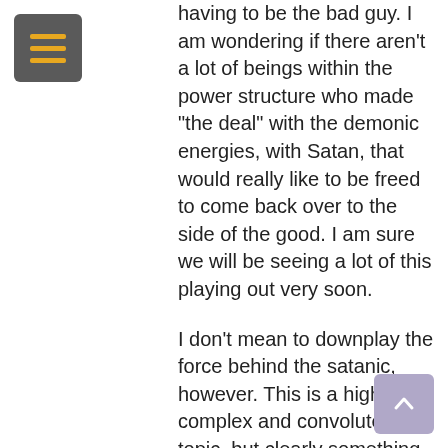[Figure (other): Grey square menu button with three horizontal yellow/gold lines (hamburger icon)]
having to be the bad guy. I am wondering if there aren't a lot of beings within the power structure who made “the deal” with the demonic energies, with Satan, that would really like to be freed to come back over to the side of the good. I am sure we will be seeing a lot of this playing out very soon.
I don’t mean to downplay the force behind the satanic, however. This is a highly complex and convoluted topic, but clearly something we have to investigate with courage and clarity.
But could it be that this is the most important and effective work that we can
[Figure (other): Light purple/mauve square scroll-to-top button with upward pointing chevron arrow]